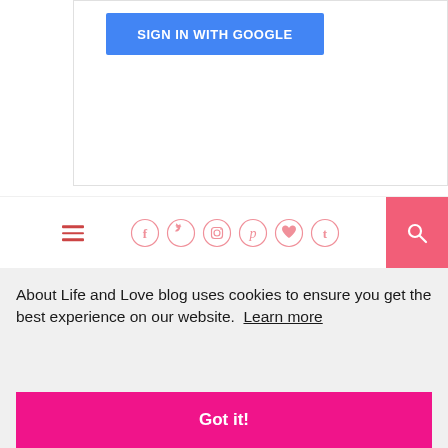[Figure (screenshot): Sign in with Google button inside a bordered box on white background]
[Figure (screenshot): Navigation bar with hamburger menu icon, social media icons (Facebook, Twitter, Instagram, Pinterest, heart/Bloglovin, Tumblr) in salmon/pink circle outlines, and a pink search button on the right]
About Life and Love blog uses cookies to ensure you get the best experience on our website.  Learn more
[Figure (screenshot): Got it! cookie consent button in hot pink]